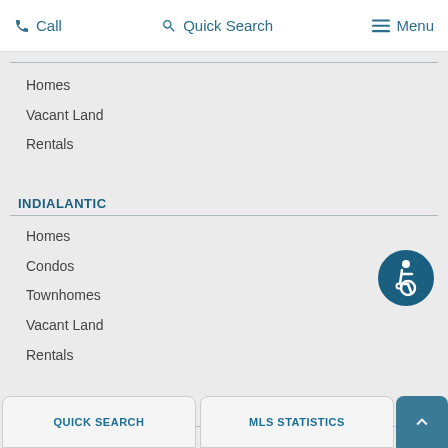Call  Quick Search  Menu
Homes
Vacant Land
Rentals
INDIALANTIC
Homes
Condos
Townhomes
Vacant Land
Rentals
ROCKLEDGE
Homes | 2 |
Condos
Vacant Land
QUICK SEARCH   MLS STATISTICS